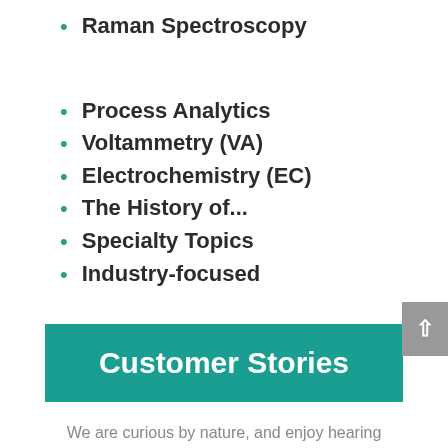Raman Spectroscopy
Process Analytics
Voltammetry (VA)
Electrochemistry (EC)
The History of...
Specialty Topics
Industry-focused
Customer Stories
We are curious by nature, and enjoy hearing